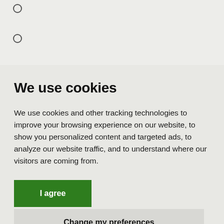○
○
We use cookies
We use cookies and other tracking technologies to improve your browsing experience on our website, to show you personalized content and targeted ads, to analyze our website traffic, and to understand where our visitors are coming from.
I agree
Change my preferences